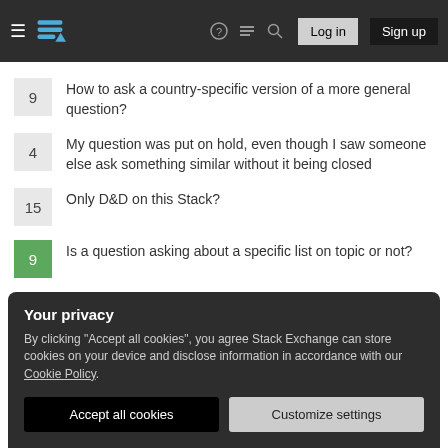Stack Exchange navigation header with Log in and Sign up buttons
9  How to ask a country-specific version of a more general question?
4  My question was put on hold, even though I saw someone else ask something similar without it being closed
15  Only D&D on this Stack?
9  Is a question asking about a specific list on topic or not?
Hot Network Questions
Is a Dutch ID card still valid for travel to the UK after Brexit?
Your privacy
By clicking "Accept all cookies", you agree Stack Exchange can store cookies on your device and disclose information in accordance with our Cookie Policy.
Accept all cookies   Customize settings